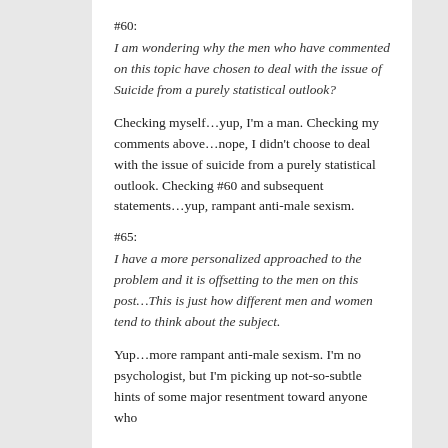#60:
I am wondering why the men who have commented on this topic have chosen to deal with the issue of Suicide from a purely statistical outlook?
Checking myself…yup, I'm a man. Checking my comments above…nope, I didn't choose to deal with the issue of suicide from a purely statistical outlook. Checking #60 and subsequent statements…yup, rampant anti-male sexism.
#65:
I have a more personalized approached to the problem and it is offsetting to the men on this post…This is just how different men and women tend to think about the subject.
Yup…more rampant anti-male sexism. I'm no psychologist, but I'm picking up not-so-subtle hints of some major resentment toward anyone who